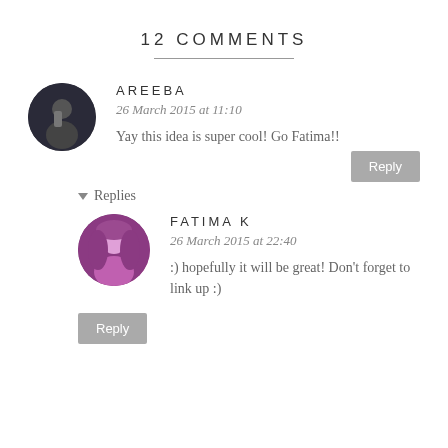12 COMMENTS
AREEBA
26 March 2015 at 11:10
Yay this idea is super cool! Go Fatima!!
▾ Replies
FATIMA K
26 March 2015 at 22:40
:) hopefully it will be great! Don't forget to link up :)